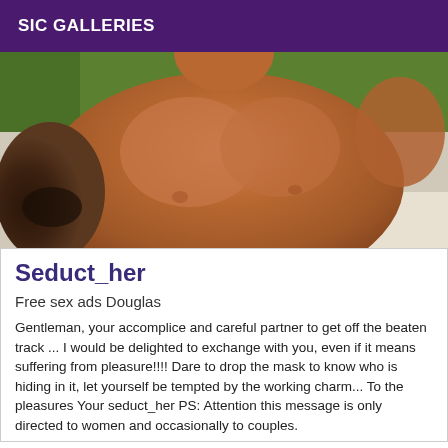SIC GALLERIES
[Figure (photo): Close-up photo of a shirtless person's torso and chest outdoors, with a tattoo visible on the left arm.]
Seduct_her
Free sex ads Douglas
Gentleman, your accomplice and careful partner to get off the beaten track ... I would be delighted to exchange with you, even if it means suffering from pleasure!!!! Dare to drop the mask to know who is hiding in it, let yourself be tempted by the working charm... To the pleasures Your seduct_her PS: Attention this message is only directed to women and occasionally to couples.